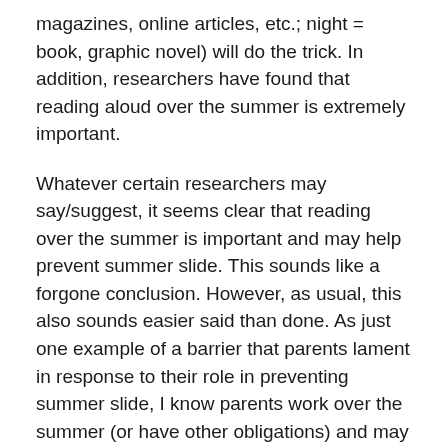magazines, online articles, etc.; night = book, graphic novel) will do the trick. In addition, researchers have found that reading aloud over the summer is extremely important.
Whatever certain researchers may say/suggest, it seems clear that reading over the summer is important and may help prevent summer slide. This sounds like a forgone conclusion. However, as usual, this also sounds easier said than done. As just one example of a barrier that parents lament in response to their role in preventing summer slide, I know parents work over the summer (or have other obligations) and may not be able to partake in a family read aloud or help ensure that their child is reading everyday. However, if preventing summer slide is a priority (which I believe it should be), parents will find a way to help their children prevent learning regression over the summer. I heard a quote today from a fellow